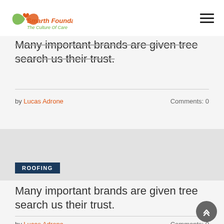Smarth Foundation – The Culture Of Care
Many important brands are given tree search us their trust.
by Lucas Adrone   Comments: 0
[Figure (illustration): Gray placeholder image area with ROOFING badge]
ROOFING
Many important brands are given tree search us their trust.
by Lucas Adrone   Comments: 0